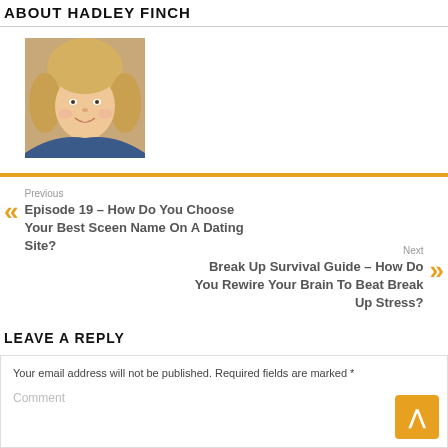ABOUT HADLEY FINCH
[Figure (photo): Portrait photo of Hadley Finch, a smiling blonde woman]
Previous
Episode 19 – How Do You Choose Your Best Sceen Name On A Dating Site?
Next
Break Up Survival Guide – How Do You Rewire Your Brain To Beat Break Up Stress?
LEAVE A REPLY
Your email address will not be published. Required fields are marked *
Comment